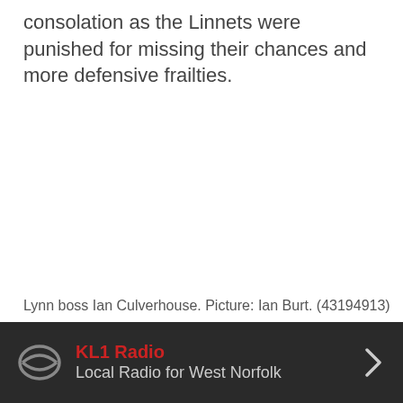consolation as the Linnets were punished for missing their chances and more defensive frailties.
Lynn boss Ian Culverhouse. Picture: Ian Burt. (43194913)
KL1 Radio — Local Radio for West Norfolk